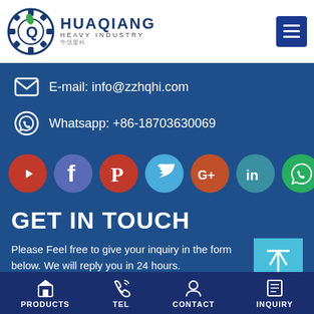[Figure (logo): Huaqiang Heavy Industry logo with gear icon]
E-mail: info@zzhqhi.com
Whatsapp: +86-18703630069
[Figure (infographic): Social media icons row: YouTube, Facebook, Pinterest, Twitter, Google+, LinkedIn, WhatsApp]
GET IN TOUCH
Please Feel free to give your inquiry in the form below. We will reply you in 24 hours.
Name
PRODUCTS  TEL  CONTACT  INQUIRY